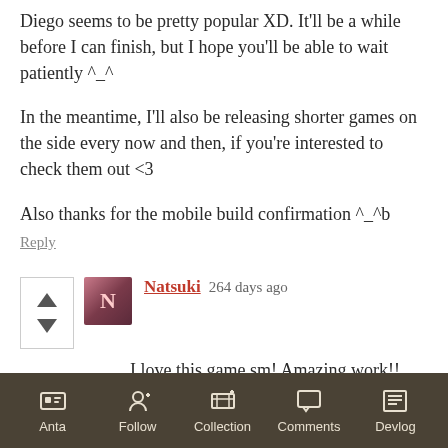Diego seems to be pretty popular XD. It'll be a while before I can finish, but I hope you'll be able to wait patiently ^_^
In the meantime, I'll also be releasing shorter games on the side every now and then, if you're interested to check them out <3
Also thanks for the mobile build confirmation ^_^b
Reply
Natsuki  264 days ago
I love this game sm! Amazing work!!
please continue in this awesome game I really enjoyed it! <D
Reply
Anta  Follow  Collection  Comments  Devlog